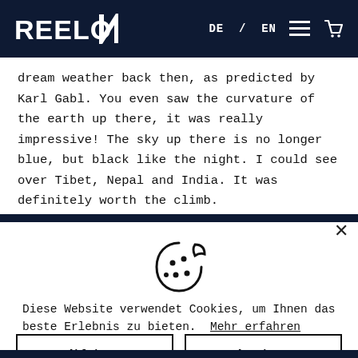REELOQ  DE / EN
dream weather back then, as predicted by Karl Gabl. You even saw the curvature of the earth up there, it was really impressive! The sky up there is no longer blue, but black like the night. I could see over Tibet, Nepal and India. It was definitely worth the climb.
[Figure (illustration): Cookie consent icon - cookie outline with dots]
Diese Website verwendet Cookies, um Ihnen das beste Erlebnis zu bieten. Mehr erfahren
Ablehnen | Annehmen